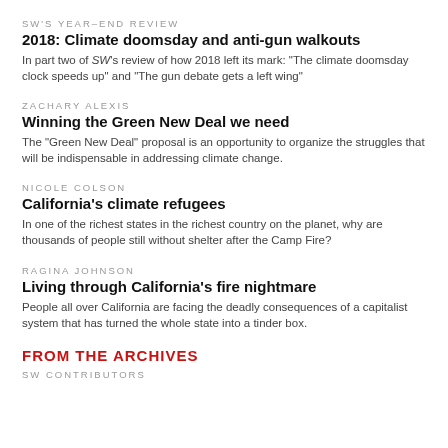SW'S YEAR-END REVIEW
2018: Climate doomsday and anti-gun walkouts
In part two of SW's review of how 2018 left its mark: “The climate doomsday clock speeds up” and “The gun debate gets a left wing”
ZACHARY ALEXIS
Winning the Green New Deal we need
The “Green New Deal” proposal is an opportunity to organize the struggles that will be indispensable in addressing climate change.
NICOLE COLSON
California’s climate refugees
In one of the richest states in the richest country on the planet, why are thousands of people still without shelter after the Camp Fire?
RAGINA JOHNSON
Living through California’s fire nightmare
People all over California are facing the deadly consequences of a capitalist system that has turned the whole state into a tinder box.
FROM THE ARCHIVES
SW CONTRIBUTORS